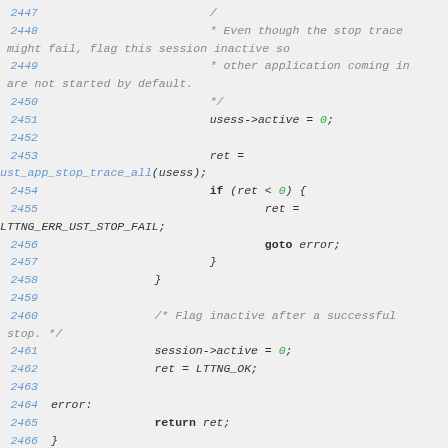[Figure (screenshot): Source code listing in C, lines 2447-2466, showing session stop trace logic with comments and code including usess->active, ust_app_stop_trace_all, error handling, and return statement.]